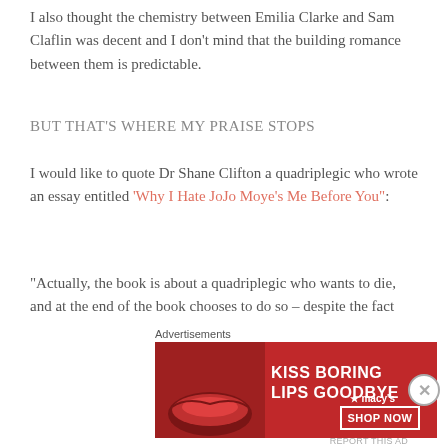I also thought the chemistry between Emilia Clarke and Sam Claflin was decent and I don't mind that the building romance between them is predictable.
BUT THAT'S WHERE MY PRAISE STOPS
I would like to quote Dr Shane Clifton a quadriplegic who wrote an essay entitled 'Why I Hate JoJo Moye's Me Before You":
"Actually, the book is about a quadriplegic who wants to die, and at the end of the book chooses to do so – despite the fact that he found love and had a loving and supporting family, and so had an amazing opportunity to
Advertisements
[Figure (other): Macy's advertisement banner: KISS BORING LIPS GOODBYE with SHOP NOW button and macy's star logo on red background]